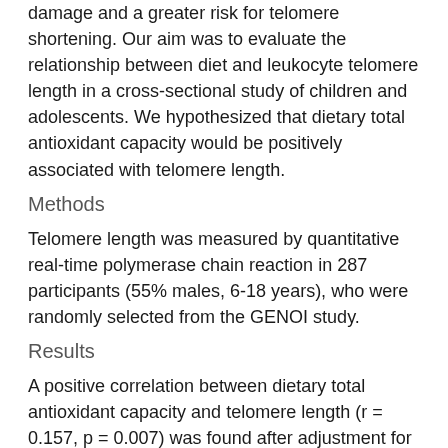damage and a greater risk for telomere shortening. Our aim was to evaluate the relationship between diet and leukocyte telomere length in a cross-sectional study of children and adolescents. We hypothesized that dietary total antioxidant capacity would be positively associated with telomere length.
Methods
Telomere length was measured by quantitative real-time polymerase chain reaction in 287 participants (55% males, 6-18 years), who were randomly selected from the GENOI study.
Results
A positive correlation between dietary total antioxidant capacity and telomere length (r = 0.157, p = 0.007) was found after adjustment for age and energy intake. However, higher white bread consumption was associated with shorter telomeres (β = -0.204, p = 0.002) in fully-adjusted models. Interestingly, those